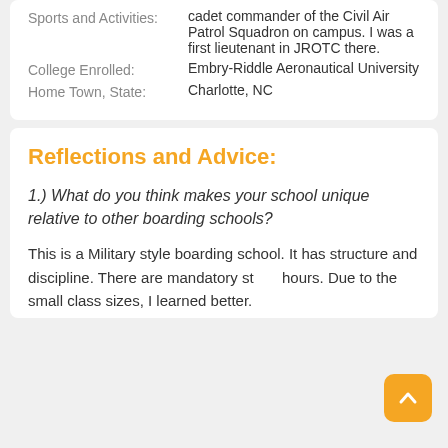| Field | Value |
| --- | --- |
| Sports and Activities: | cadet commander of the Civil Air Patrol Squadron on campus. I was a first lieutenant in JROTC there. |
| College Enrolled: | Embry-Riddle Aeronautical University |
| Home Town, State: | Charlotte, NC |
Reflections and Advice:
1.) What do you think makes your school unique relative to other boarding schools?
This is a Military style boarding school. It has structure and discipline. There are mandatory st hours. Due to the small class sizes, I learned better.